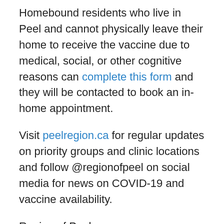Homebound residents who live in Peel and cannot physically leave their home to receive the vaccine due to medical, social, or other cognitive reasons can complete this form and they will be contacted to book an in-home appointment.
Visit peelregion.ca for regular updates on priority groups and clinic locations and follow @regionofpeel on social media for news on COVID-19 and vaccine availability.
Region of Peel
The Region of Peel works with residents and partners to create a healthy, safe and connected Community for Life for approximately 1.5 million people and over 175,000 businesses in the cities of Brampton and Mississauga and the Town of Caledon. Peel's services touch the lives of residents every day. For more information about the